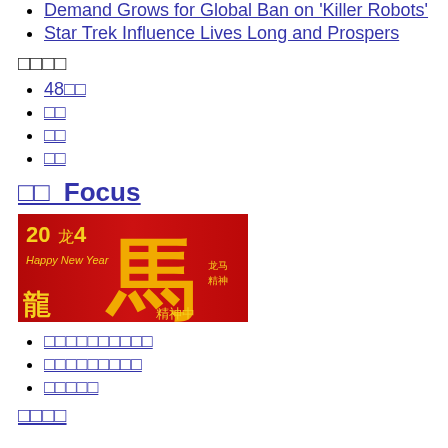Demand Grows for Global Ban on 'Killer Robots'
Star Trek Influence Lives Long and Prospers
□□□□
48□□
□□
□□
□□
□□ Focus
[Figure (illustration): Chinese New Year banner image with red background, golden horse character, 2014 text, Happy New Year text, and Chinese calligraphy]
□□□□□□□□□□
□□□□□□□□□
□□□□□
□□□□